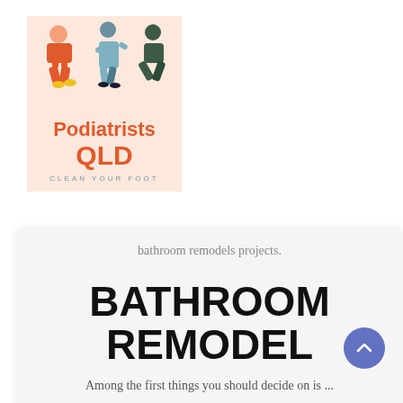[Figure (logo): Podiatrists QLD logo with illustrated figures of people walking/running on a light peach background, text reads 'Podiatrists QLD' in orange and tagline 'CLEAN YOUR FOOT' in teal]
bathroom remodels projects.
BATHROOM REMODEL
Among the first things you should decide on is ...
Read More